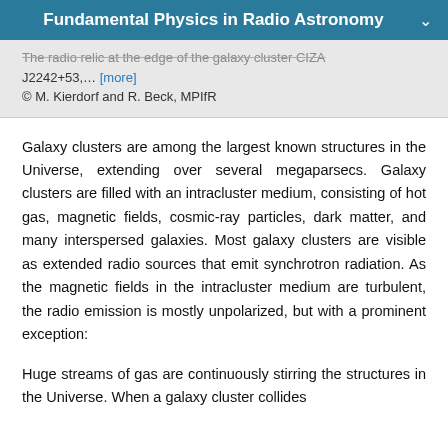Fundamental Physics in Radio Astronomy
The radio relic at the edge of the galaxy cluster CIZA J2242+53,… [more]
© M. Kierdorf and R. Beck, MPIfR
Galaxy clusters are among the largest known structures in the Universe, extending over several megaparsecs. Galaxy clusters are filled with an intracluster medium, consisting of hot gas, magnetic fields, cosmic-ray particles, dark matter, and many interspersed galaxies. Most galaxy clusters are visible as extended radio sources that emit synchrotron radiation. As the magnetic fields in the intracluster medium are turbulent, the radio emission is mostly unpolarized, but with a prominent exception:
Huge streams of gas are continuously stirring the structures in the Universe. When a galaxy cluster collides